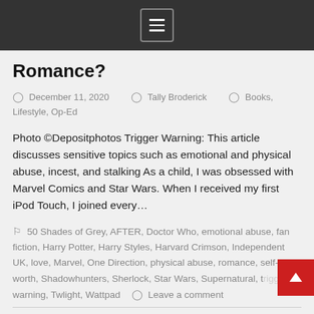Menu icon / navigation header
Romance?
December 11, 2020   Tally Broderick   Books, Lifestyle, Op-Ed
Photo ©Depositphotos Trigger Warning: This article discusses sensitive topics such as emotional and physical abuse, incest, and stalking As a child, I was obsessed with Marvel Comics and Star Wars. When I received my first iPod Touch, I joined every…
50 Shades of Grey, AFTER, Doctor Who, emotional abuse, fan fiction, Harry Potter, Harry Styles, Harvard Crimson, Independent UK, love, Marvel, One Direction, physical abuse, romance, self-worth, Shadowhunters, Sherlock, Star Wars, Supernatural, trigger warning, Twlight, Wattpad   Leave a comment